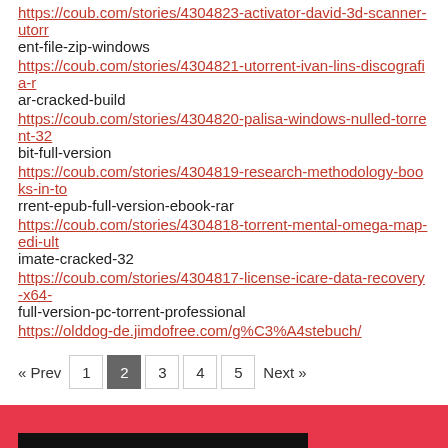https://coub.com/stories/4304823-activator-david-3d-scanner-utorrent-file-zip-windows
https://coub.com/stories/4304821-utorrent-ivan-lins-discografia-rar-cracked-build
https://coub.com/stories/4304820-palisa-windows-nulled-torrent-32bit-full-version
https://coub.com/stories/4304819-research-methodology-books-in-torrent-epub-full-version-ebook-rar
https://coub.com/stories/4304818-torrent-mental-omega-map-edi-ultimate-cracked-32
https://coub.com/stories/4304817-license-icare-data-recovery-x64-full-version-pc-torrent-professional
https://olddog-de.jimdofree.com/g%C3%A4stebuch/
« Prev  1  2  3  4  5  Next »
[Figure (photo): Red background section with a dark photo box containing a silhouette/portrait at the bottom of the page]